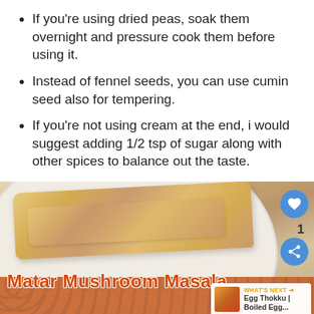If you're using dried peas, soak them overnight and pressure cook them before using it.
Instead of fennel seeds, you can use cumin seed also for tempering.
If you're not using cream at the end, i would suggest adding 1/2 tsp of sugar along with other spices to balance out the taste.
[Figure (photo): Food photo showing chapati/roti on a white plate with crochet mat underneath, with text overlay 'Matar Mushroom Masala', heart button, share button, count '1', and 'What's Next' panel showing 'Egg Thokku | Boiled Egg...']